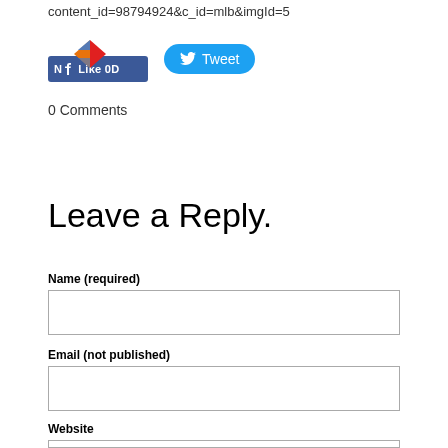content_id=98794924&c_id=mlb&imgId=5
[Figure (screenshot): Facebook Like button with blue bar showing thumbs up icon and '0' count, overlaid with a colorful diamond/chevron logo above it]
[Figure (screenshot): Twitter Tweet button with Twitter bird icon in blue rounded pill shape]
0 Comments
Leave a Reply.
Name (required)
Email (not published)
Website